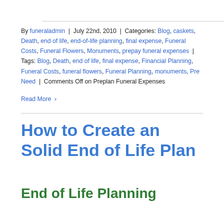By funeraladmin | July 22nd, 2010 | Categories: Blog, caskets, Death, end of life, end-of-life planning, final expense, Funeral Costs, Funeral Flowers, Monuments, prepay funeral expenses | Tags: Blog, Death, end of life, final expense, Financial Planning, Funeral Costs, funeral flowers, Funeral Planning, monuments, Pre Need | Comments Off on Preplan Funeral Expenses
Read More >
How to Create an Solid End of Life Plan
End of Life Planning